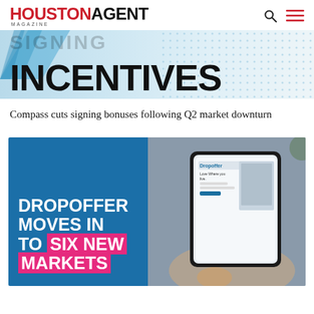HOUSTON AGENT MAGAZINE
[Figure (illustration): Banner with SIGNING INCENTIVES text on light blue background with dot pattern]
Compass cuts signing bonuses following Q2 market downturn
[Figure (infographic): DROPOFFER MOVES IN TO SIX NEW MARKETS ad with blue background on left and tablet photo on right]